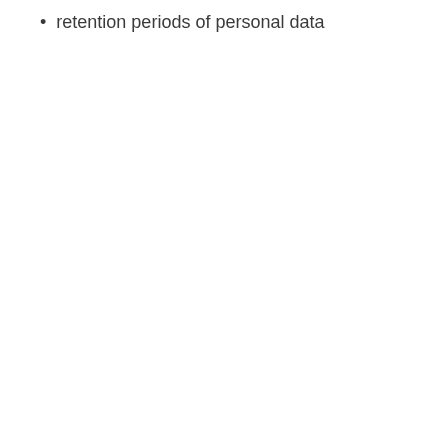retention periods of personal data